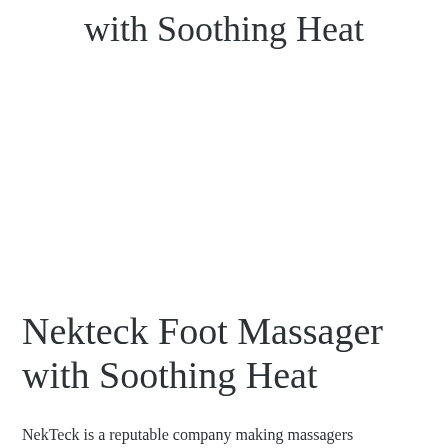with Soothing Heat
Nekteck Foot Massager with Soothing Heat
NekTeck is a reputable company making massagers